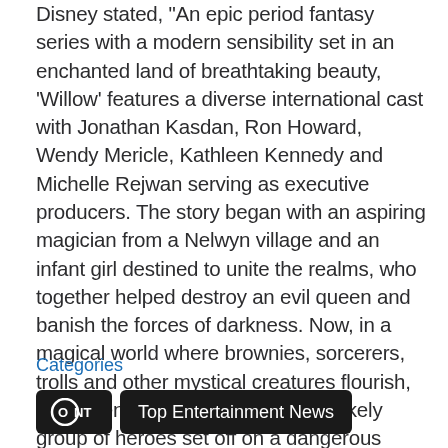Disney stated, "An epic period fantasy series with a modern sensibility set in an enchanted land of breathtaking beauty, 'Willow' features a diverse international cast with Jonathan Kasdan, Ron Howard, Wendy Mericle, Kathleen Kennedy and Michelle Rejwan serving as executive producers. The story began with an aspiring magician from a Nelwyn village and an infant girl destined to unite the realms, who together helped destroy an evil queen and banish the forces of darkness. Now, in a magical world where brownies, sorcerers, trolls and other mystical creatures flourish, the adventure continues, as an unlikely group of heroes set off on a dangerous quest to places far beyond their home, where they must face their inner demons and come together to save their world."
Categories
ONT | Top Entertainment News